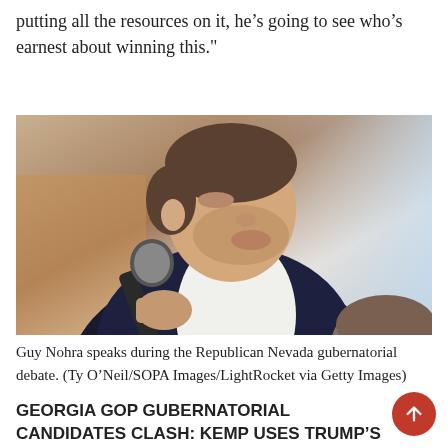putting all the resources on it, he’s going to see who’s earnest about winning this."
[Figure (photo): Guy Nohra speaking into a microphone at the Republican Nevada gubernatorial debate, wearing a dark suit jacket, photographed from the side against a light blue background.]
Guy Nohra speaks during the Republican Nevada gubernatorial debate. (Ty O’Neil/SOPA Images/LightRocket via Getty Images)
GEORGIA GOP GUBERNATORIAL CANDIDATES CLASH: KEMP USES TRUMP’S PAST WORDS TO TARGET PERDUE